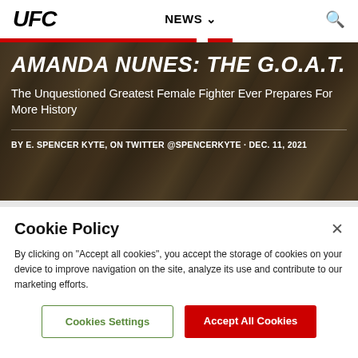[Figure (screenshot): UFC website navigation bar with UFC italic logo on left, NEWS dropdown in center, search icon on right]
[Figure (photo): Hero image with goats in background and person in military-style jacket, overlaid with article title and byline]
AMANDA NUNES: THE G.O.A.T.
The Unquestioned Greatest Female Fighter Ever Prepares For More History
BY E. SPENCER KYTE, ON TWITTER @SPENCERKYTE · DEC. 11, 2021
Cookie Policy
By clicking on "Accept all cookies", you accept the storage of cookies on your device to improve navigation on the site, analyze its use and contribute to our marketing efforts.
Cookies Settings
Accept All Cookies